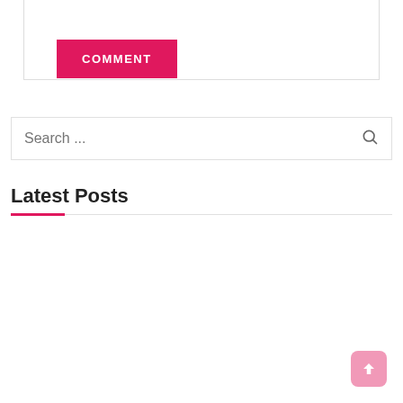COMMENT
Search ...
Latest Posts